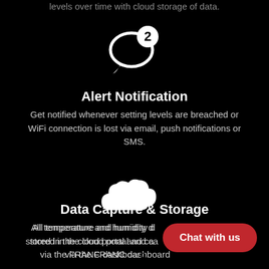levels over time with cloud storage of data.
[Figure (illustration): Chat bubble icon with number 2 badge, white on black background]
Alert Notification
Get notified whenever setting levels are breached or WiFi connection is lost via email, push notifications or SMS.
[Figure (illustration): Cloud icon, white on black background]
Data Capture & Storage
All temperature and humidity data stored in the cloud portal and can be accessed via the FRANC dashboard.